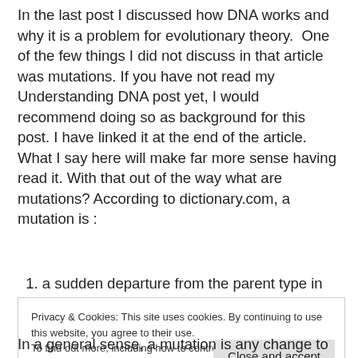In the last post I discussed how DNA works and why it is a problem for evolutionary theory. One of the few things I did not discuss in that article was mutations. If you have not read my Understanding DNA post yet, I would recommend doing so as background for this post. I have linked it at the end of the article. What I say here will make far more sense having read it. With that out of the way what are mutations? According to dictionary.com, a mutation is :
1. a sudden departure from the parent type in
Privacy & Cookies: This site uses cookies. By continuing to use this website, you agree to their use.
To find out more, including how to control cookies, see here: Cookie Policy
In a general sense, a mutation is any change to